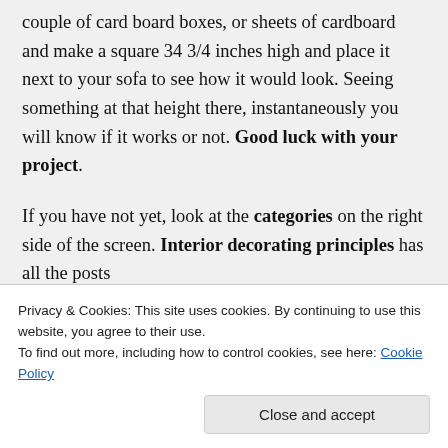couple of card board boxes, or sheets of cardboard and make a square 34 3/4 inches high and place it next to your sofa to see how it would look. Seeing something at that height there, instantaneously you will know if it works or not. Good luck with your project.
If you have not yet, look at the categories on the right side of the screen. Interior decorating principles has all the posts
Privacy & Cookies: This site uses cookies. By continuing to use this website, you agree to their use.
To find out more, including how to control cookies, see here: Cookie Policy